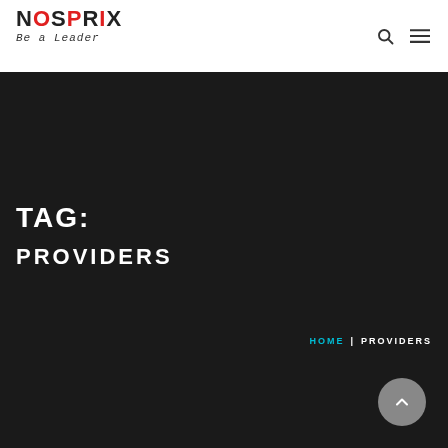NOSPRIX Be a Leader
TAG: PROVIDERS
HOME | PROVIDERS